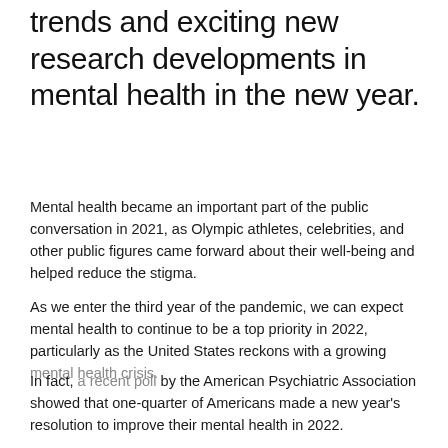trends and exciting new research developments in mental health in the new year.
Mental health became an important part of the public conversation in 2021, as Olympic athletes, celebrities, and other public figures came forward about their well-being and helped reduce the stigma.
As we enter the third year of the pandemic, we can expect mental health to continue to be a top priority in 2022, particularly as the United States reckons with a growing mental health crisis.
In fact, a recent poll by the American Psychiatric Association showed that one-quarter of Americans made a new year's resolution to improve their mental health in 2022.